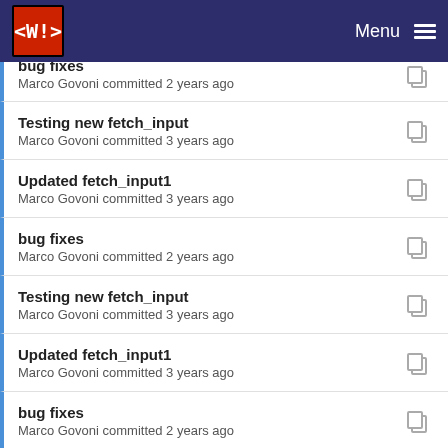Menu
bug fixes
Marco Govoni committed 2 years ago
Testing new fetch_input
Marco Govoni committed 3 years ago
Updated fetch_input1
Marco Govoni committed 3 years ago
bug fixes
Marco Govoni committed 2 years ago
Testing new fetch_input
Marco Govoni committed 3 years ago
Updated fetch_input1
Marco Govoni committed 3 years ago
bug fixes
Marco Govoni committed 2 years ago
Testing new fetch_input
Marco Govoni committed 3 years ago